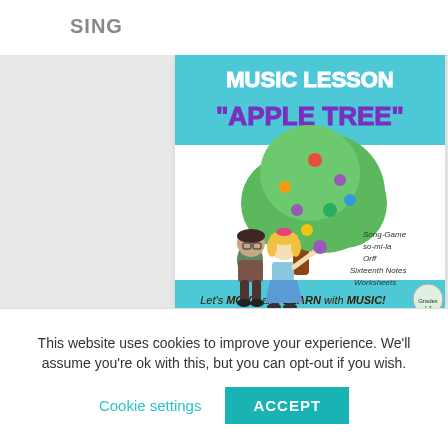SING
[Figure (illustration): Music lesson product thumbnail showing 'MUSIC LESSON APPLE TREE' with two cartoon children and a colorful apple tree. Text at bottom: Let's MOVE and LEARN with MUSIC! Includes labels: Song-Game, so-mi-la, Orff, Sixteenth Notes, Worksheets]
Music Resources
Music Lesson: "Apple Tree"(so-mi-la) Sixteenth
This website uses cookies to improve your experience. We'll assume you're ok with this, but you can opt-out if you wish.
Cookie settings
ACCEPT